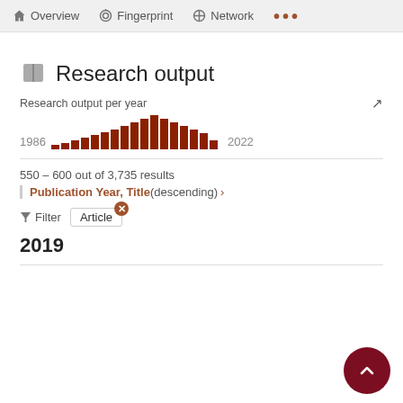Overview   Fingerprint   Network   ...
Research output
[Figure (bar-chart): Research output per year]
550 – 600 out of 3,735 results
Publication Year, Title (descending) ›
Filter   Article
2019